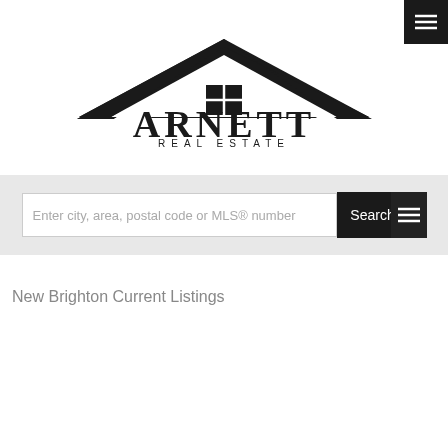[Figure (logo): Arnett Real Estate logo with house/roof graphic above the text ARNETT in large bold serif letters and REAL ESTATE in spaced capitals below]
[Figure (other): Dark hamburger menu button in top-right corner]
Enter city, area, postal code or MLS® number
Search
New Brighton Current Listings